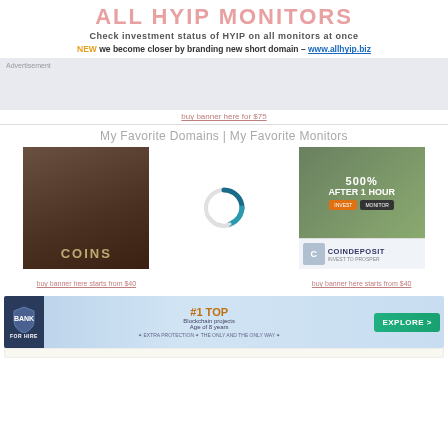ALL HYIP MONITORS
Check investment status of HYIP on all monitors at once
NEW we become closer by branding new short domain – www.allhyip.biz
[Figure (other): Banner advertisement placeholder area with light blue-gray background]
buy banner here for $75
My Favorite Domains | My Favorite Monitors
[Figure (other): Dark brown banner with COINS text at bottom]
[Figure (other): Loading spinner icon - circular dashed teal spinner]
[Figure (other): CoinDeposit banner - green top with 500% AFTER 1 HOUR text, white bottom with COINDEPOSIT logo]
buy banner here starts from $40
buy banner here starts from $40
[Figure (other): Blue gradient banner with shield logo, #1 TOP ranking text, and EXPLORE button]